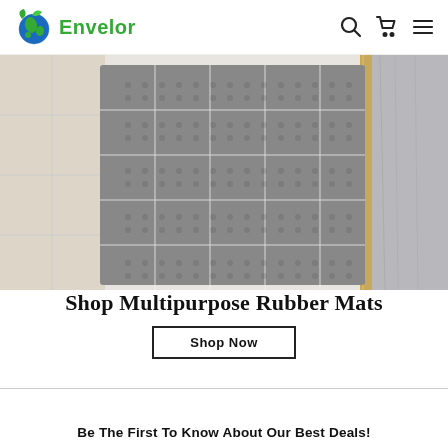Envelor
[Figure (photo): A gray rubber anti-fatigue/anti-slip mat placed on a tiled floor near a wall, showing grid texture pattern with holes]
Shop Multipurpose Rubber Mats
Shop Now
Be The First To Know About Our Best Deals!